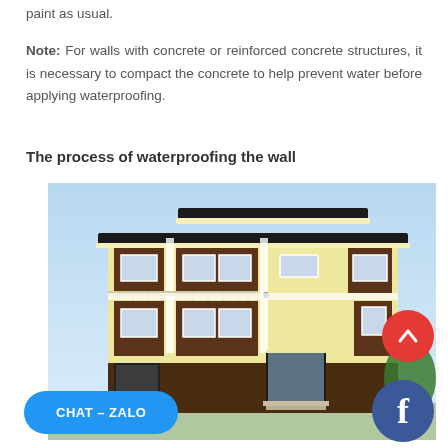paint as usual.
Note: For walls with concrete or reinforced concrete structures, it is necessary to compact the concrete to help prevent water before applying waterproofing.
The process of waterproofing the wall
[Figure (photo): A two-story modern house with cream/yellow walls and dark brown accent panels, featuring a flat roof with dark overhang, windows, balcony, garage, and green trees in the background. A red scroll-up arrow button, a blue Facebook circle button, and a blue 'CHAT – ZALO' pill button overlay the image.]